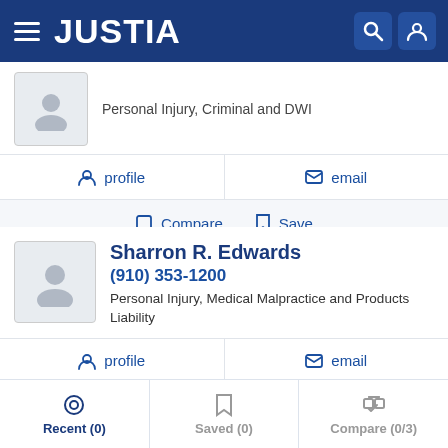JUSTIA
Personal Injury, Criminal and DWI
profile   email
Compare   Save
Sharron R. Edwards
(910) 353-1200
Personal Injury, Medical Malpractice and Products Liability
profile   email
Compare   Save
Recent (0)   Saved (0)   Compare (0/3)